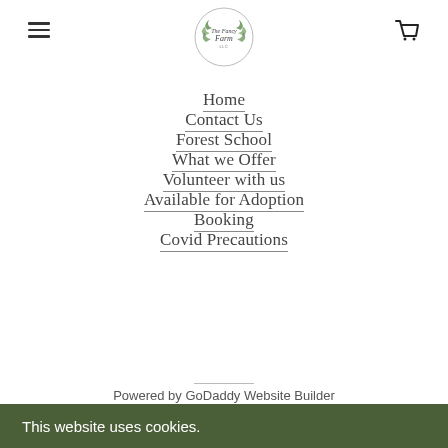[hamburger menu icon] [The Fancy Farm logo] [cart icon]
Home
Contact Us
Forest School
What we Offer
Volunteer with us
Available for Adoption
Booking
Covid Precautions
Powered by GoDaddy Website Builder
This website uses cookies.